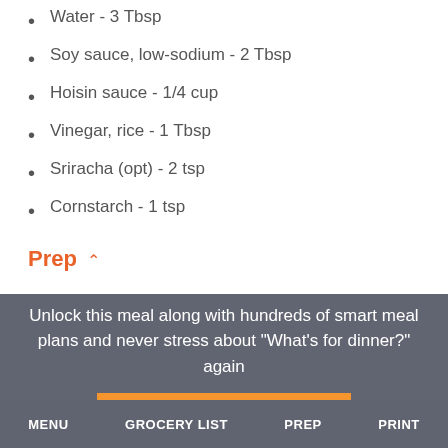Water - 3 Tbsp
Soy sauce, low-sodium - 2 Tbsp
Hoisin sauce - 1/4 cup
Vinegar, rice - 1 Tbsp
Sriracha (opt) - 2 tsp
Cornstarch - 1 tsp
Prep
Unlock this meal along with hundreds of smart meal plans and never stress about "What's for dinner?" again
TRY FOR FREE
MENU   GROCERY LIST   PREP   PRINT